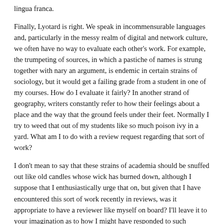lingua franca.
Finally, Lyotard is right. We speak in incommensurable languages and, particularly in the messy realm of digital and network culture, we often have no way to evaluate each other's work. For example, the trumpeting of sources, in which a pastiche of names is strung together with nary an argument, is endemic in certain strains of sociology, but it would get a failing grade from a student in one of my courses. How do I evaluate it fairly? In another strand of geography, writers constantly refer to how their feelings about a place and the way that the ground feels under their feet. Normally I try to weed that out of my students like so much poison ivy in a yard. What am I to do with a review request regarding that sort of work?
I don't mean to say that these strains of academia should be snuffed out like old candles whose wick has burned down, although I suppose that I enthusiastically urge that on, but given that I have encountered this sort of work recently in reviews, was it appropriate to have a reviewer like myself on board? I'll leave it to your imagination as to how I might have responded to such requests, but obviously I have to balance being objective about the quality of the work with the fact that there is another person on the other side, no matter how ill-informed. In my own case, my attempt to find balance is informed by having been the victim of reviewers who I still think of as unqualified to be considered my peers. A long while back one of my articles was rejected for publication in one